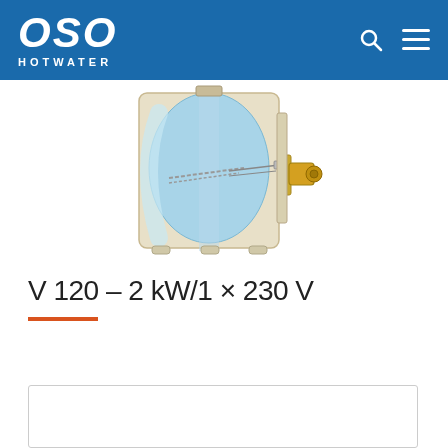OSO HOTWATER
[Figure (illustration): Cross-section diagram of an OSO Hotwater V 120 water heater tank, showing internal components including heating element, insulation, and plumbing connections. The tank interior is shown in blue/light blue, with external yellow/brass fittings on the right side.]
V 120 – 2 kW/1 × 230 V